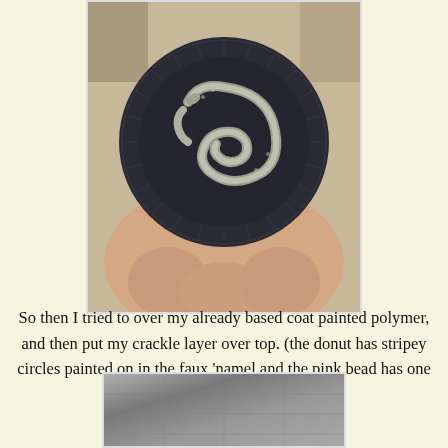[Figure (photo): A hand holding a dark circular polymer clay disc with a silver/metallic snake design coiled on it, with radial ridges around the edge.]
So then I tried to over my already based coat painted polymer, and then put my crackle layer over top. (the donut has stripey circles painted on in the faux 'namel and the pink bead has one stripe at the top)
[Figure (photo): Partial view of a crafted object, likely showing the crackle effect on polymer clay bead or donut piece.]